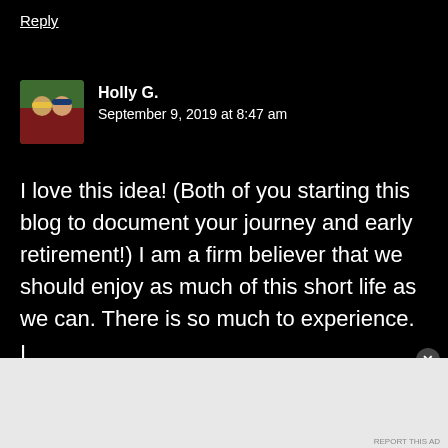Reply
Holly G.
September 9, 2019 at 8:47 am
I love this idea! (Both of you starting this blog to document your journey and early retirement!) I am a firm believer that we should enjoy as much of this short life as we can. There is so much to experience.
[Figure (screenshot): DuckDuckGo advertisement banner with orange/red left panel saying 'Search, browse, and email with more privacy. All in One Free App' and dark right panel with DuckDuckGo logo]